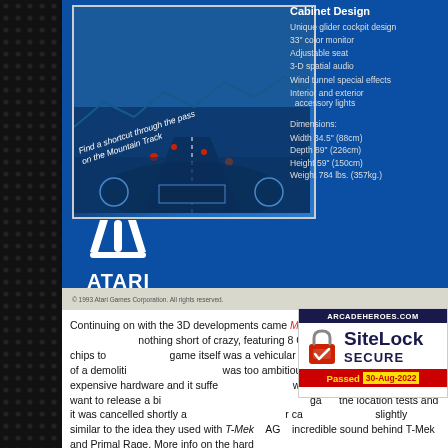[Figure (photo): Atari Games advertisement showing a blue background with a game screenshot of a racing/flying game, Atari logo and Games text, and cabinet design specifications. Copyright 1993 Atari Games Corporation.]
Continuing on with the 3D developments came Metal Maniax (1994). The hardware was nothing short of crazy, featuring 8 CPUs and hundreds of other chips to power it. The game itself was a vehicular combat game, along the lines of a demolition derby. The game was too ambitious for the complex and expensive hardware and it suffered from issues which is not something you want to release a big game with. It failed during the location tests and it was cancelled shortly after. Atari used some of the hardware for ca... slightly similar to the idea they used with T-Mek... AG... incredible sound behind T-Mek and Primal Rage. More info on the hard...